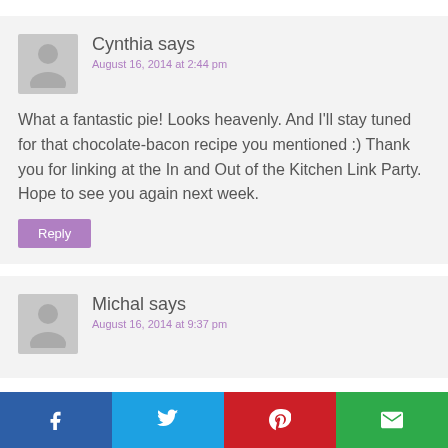Cynthia says
August 16, 2014 at 2:44 pm
What a fantastic pie! Looks heavenly. And I'll stay tuned for that chocolate-bacon recipe you mentioned :) Thank you for linking at the In and Out of the Kitchen Link Party. Hope to see you again next week.
Reply
Michal says
August 16, 2014 at 9:37 pm